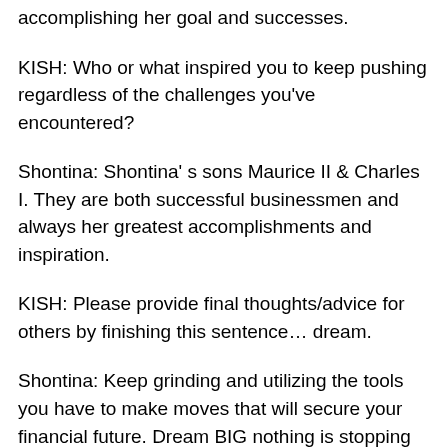accomplishing her goal and successes.
KISH: Who or what inspired you to keep pushing regardless of the challenges you've encountered?
Shontina: Shontina' s sons Maurice II & Charles I. They are both successful businessmen and always her greatest accomplishments and inspiration.
KISH: Please provide final thoughts/advice for others by finishing this sentence… dream.
Shontina: Keep grinding and utilizing the tools you have to make moves that will secure your financial future. Dream BIG nothing is stopping you!